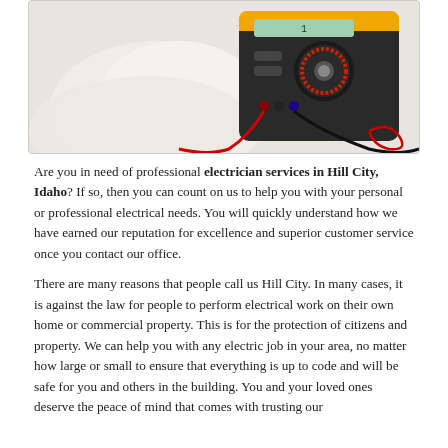[Figure (photo): A gloved hand holding a yellow and black digital multimeter with red and black probes against a white surface.]
Are you in need of professional electrician services in Hill City, Idaho? If so, then you can count on us to help you with your personal or professional electrical needs. You will quickly understand how we have earned our reputation for excellence and superior customer service once you contact our office.
There are many reasons that people call us Hill City. In many cases, it is against the law for people to perform electrical work on their own home or commercial property. This is for the protection of citizens and property. We can help you with any electric job in your area, no matter how large or small to ensure that everything is up to code and will be safe for you and others in the building. You and your loved ones deserve the peace of mind that comes with trusting our